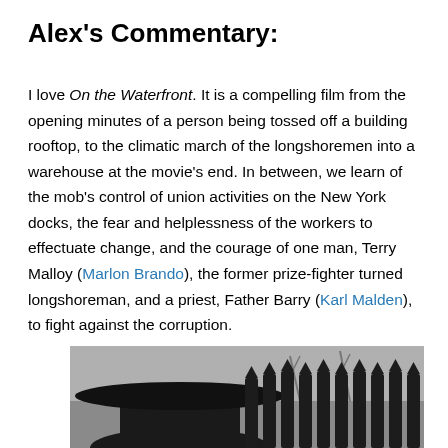Alex's Commentary:
I love On the Waterfront. It is a compelling film from the opening minutes of a person being tossed off a building rooftop, to the climatic march of the longshoremen into a warehouse at the movie's end. In between, we learn of the mob's control of union activities on the New York docks, the fear and helplessness of the workers to effectuate change, and the courage of one man, Terry Malloy (Marlon Brando), the former prize-fighter turned longshoreman, and a priest, Father Barry (Karl Malden), to fight against the corruption.
[Figure (photo): Black and white photograph showing a man in a dark fedora hat in the foreground, with a fence with pointed pickets and industrial cranes/docks visible in the background.]